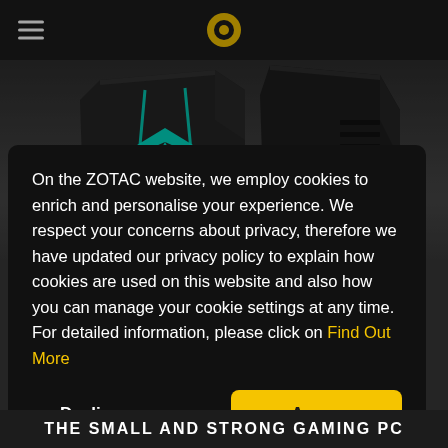ZOTAC navigation bar with hamburger menu and logo
[Figure (photo): Dark angular gaming PC tower with teal/cyan ZOTAC bird logo glowing on the front panel, shown against a dark grey background]
On the ZOTAC website, we employ cookies to enrich and personalise your experience. We respect your concerns about privacy, therefore we have updated our privacy policy to explain how cookies are used on this website and also how you can manage your cookie settings at any time. For detailed information, please click on Find Out More
Decline
Agree
THE SMALL AND STRONG GAMING PC